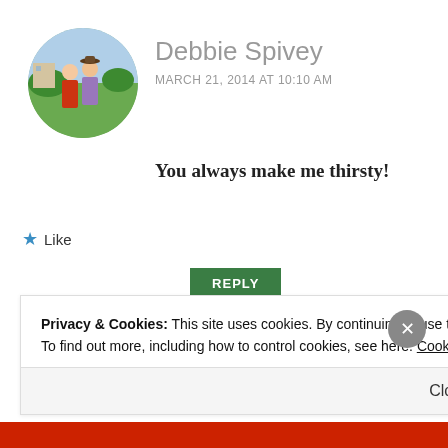[Figure (photo): Circular profile photo of two people outdoors, one in red dress]
Debbie Spivey
MARCH 21, 2014 AT 10:10 AM
You always make me thirsty!
★ Like
REPLY
Privacy & Cookies: This site uses cookies. By continuing to use this website, you agree to their use.
To find out more, including how to control cookies, see here: Cookie Policy
Close and accept